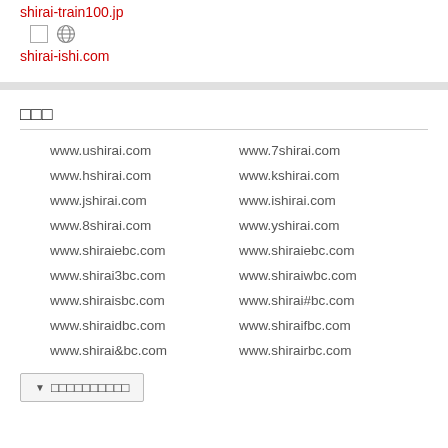shirai-train100.jp
□ 🌐
shirai-ishi.com
□□□
www.ushirai.com
www.7shirai.com
www.hshirai.com
www.kshirai.com
www.jshirai.com
www.ishirai.com
www.8shirai.com
www.yshirai.com
www.shiraiebc.com
www.shiraiebc.com
www.shirai3bc.com
www.shiraiwbc.com
www.shiraisbc.com
www.shirai#bc.com
www.shiraidbc.com
www.shiraifbc.com
www.shirai&bc.com
www.shirairbc.com
▼ □□□□□□□□□□